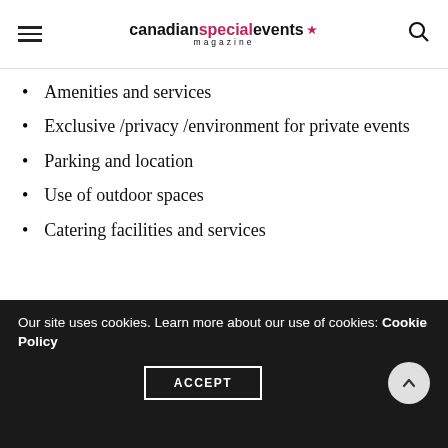canadianspecialevents magazine
Amenities and services
Exclusive /privacy /environment for private events
Parking and location
Use of outdoor spaces
Catering facilities and services
14. MOST TECH SAVVY VENUE
Our site uses cookies. Learn more about our use of cookies: Cookie Policy
ACCEPT